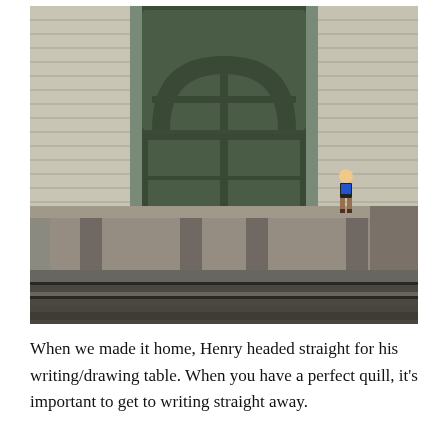[Figure (photo): A young boy standing on a raised wooden train platform beside a historic train station building with a large dark green door featuring arched window panes. Old railroad tracks are visible in the foreground.]
When we made it home, Henry headed straight for his writing/drawing table. When you have a perfect quill, it's important to get to writing straight away.